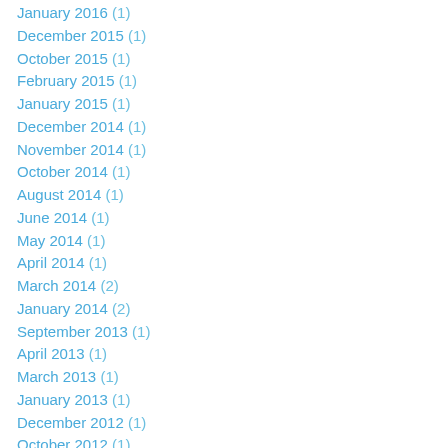January 2016 (1)
December 2015 (1)
October 2015 (1)
February 2015 (1)
January 2015 (1)
December 2014 (1)
November 2014 (1)
October 2014 (1)
August 2014 (1)
June 2014 (1)
May 2014 (1)
April 2014 (1)
March 2014 (2)
January 2014 (2)
September 2013 (1)
April 2013 (1)
March 2013 (1)
January 2013 (1)
December 2012 (1)
October 2012 (1)